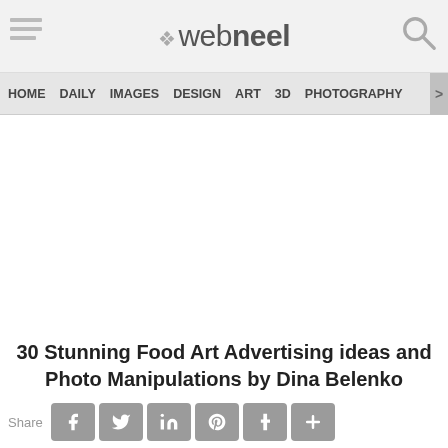webneel
HOME  DAILY  IMAGES  DESIGN  ART  3D  PHOTOGRAPHY
[Figure (other): Advertisement / empty white space area in the middle of the page]
30 Stunning Food Art Advertising ideas and Photo Manipulations by Dina Belenko
Share